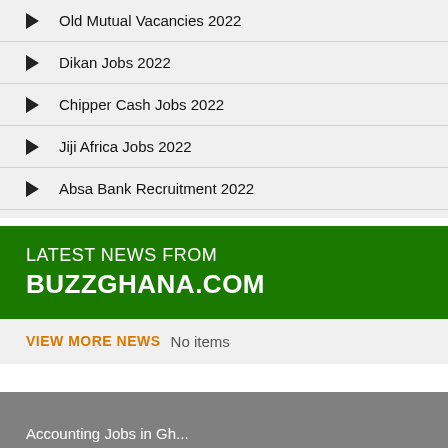Old Mutual Vacancies 2022
Dikan Jobs 2022
Chipper Cash Jobs 2022
Jiji Africa Jobs 2022
Absa Bank Recruitment 2022
LATEST NEWS FROM BUZZGHANA.COM
VIEW MORE NEWS  No items
Accounting Jobs in Gh...